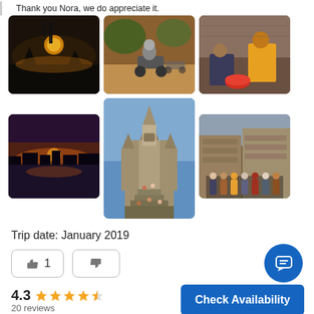Thank you Nora, we do appreciate it.
[Figure (photo): Sunset silhouette with tower/temple]
[Figure (photo): Person riding ATV on dirt path]
[Figure (photo): People sitting on ground with watermelon]
[Figure (photo): Sunset over water/river with city silhouette]
[Figure (photo): Ancient temple/Angkor Wat style with people on stairs]
[Figure (photo): Group of tourists in front of ancient stone ruins]
Trip date: January 2019
[Figure (other): Like button with count 1 and dislike button]
[Figure (other): Chat/message floating button]
4.3
20 reviews
Check Availability